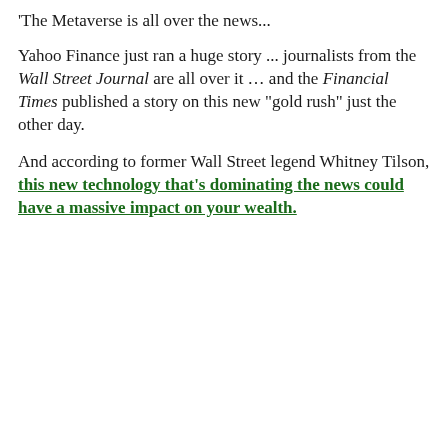'The Metaverse is all over the news...
Yahoo Finance just ran a huge story ... journalists from the Wall Street Journal are all over it ... and the Financial Times published a story on this new "gold rush" just the other day.
And according to former Wall Street legend Whitney Tilson, this new technology that's dominating the news could have a massive impact on your wealth.